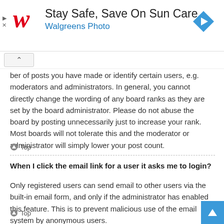[Figure (illustration): Walgreens ad banner: red cursive W logo, text 'Stay Safe, Save On Sun Care' and 'Walgreens Photo' in blue, blue diamond arrow icon top right, play and close controls bottom left]
ber of posts you have made or identify certain users, e.g. moderators and administrators. In general, you cannot directly change the wording of any board ranks as they are set by the board administrator. Please do not abuse the board by posting unnecessarily just to increase your rank. Most boards will not tolerate this and the moderator or administrator will simply lower your post count.
Top
When I click the email link for a user it asks me to login?
Only registered users can send email to other users via the built-in email form, and only if the administrator has enabled this feature. This is to prevent malicious use of the email system by anonymous users.
Top